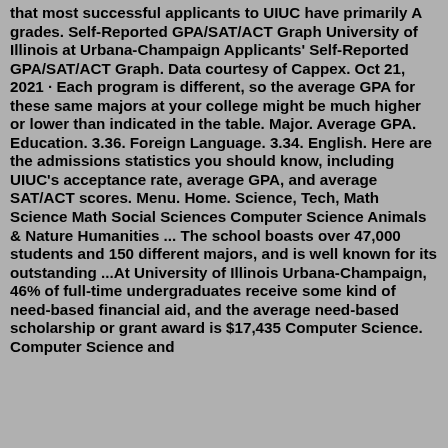that most successful applicants to UIUC have primarily A grades. Self-Reported GPA/SAT/ACT Graph University of Illinois at Urbana-Champaign Applicants' Self-Reported GPA/SAT/ACT Graph. Data courtesy of Cappex. Oct 21, 2021 · Each program is different, so the average GPA for these same majors at your college might be much higher or lower than indicated in the table. Major. Average GPA. Education. 3.36. Foreign Language. 3.34. English. Here are the admissions statistics you should know, including UIUC's acceptance rate, average GPA, and average SAT/ACT scores. Menu. Home. Science, Tech, Math Science Math Social Sciences Computer Science Animals & Nature Humanities ... The school boasts over 47,000 students and 150 different majors, and is well known for its outstanding ...At University of Illinois Urbana-Champaign, 46% of full-time undergraduates receive some kind of need-based financial aid, and the average need-based scholarship or grant award is $17,435 Computer Science. Computer Science and